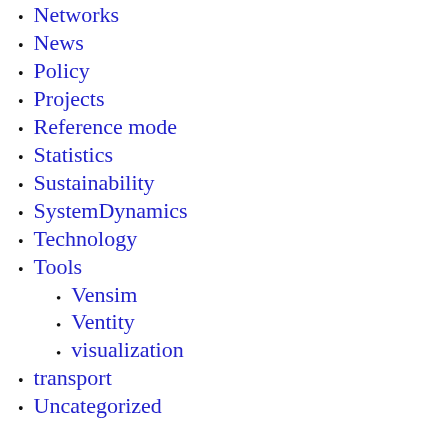Networks
News
Policy
Projects
Reference mode
Statistics
Sustainability
SystemDynamics
Technology
Tools
Vensim
Ventity
visualization
transport
Uncategorized